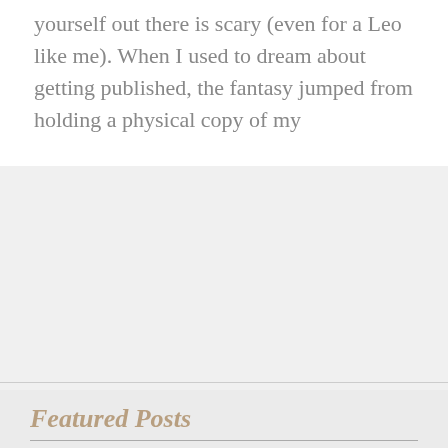yourself out there is scary (even for a Leo like me). When I used to dream about getting published, the fantasy jumped from holding a physical copy of my
Featured Posts
[Figure (photo): A dark, atmospheric photo of a tree-lined road or path in winter, with bare branches forming an arch over the road, and a bright glowing light visible at the far end of the tunnel of trees. The image has a blue-grey tonal quality suggesting cold and mystery.]